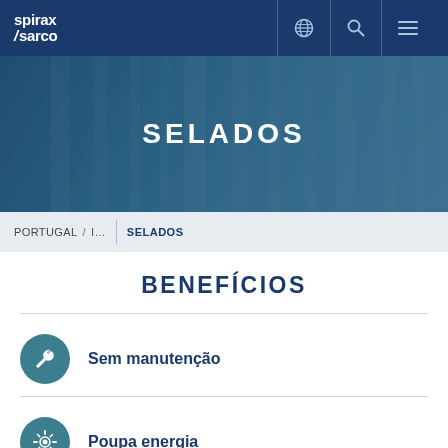spirax sarco
[Figure (screenshot): Hero banner with industrial steam equipment background and title SELADOS in white text on dark blue overlay]
SELADOS
PORTUGAL / I... SELADOS
BENEFÍCIOS
Sem manutenção
Poupa energia